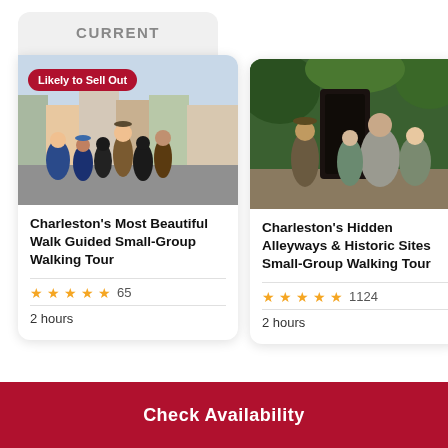CURRENT
[Figure (photo): Group of tourists on a Charleston street walking tour with colorful buildings in background, badge 'Likely to Sell Out']
Charleston's Most Beautiful Walk Guided Small-Group Walking Tour
★★★★★ 65
2 hours
[Figure (photo): Tour guide showing group hidden alleyways and historic sites in Charleston]
Charleston's Hidden Alleyways & Historic Sites Small-Group Walking Tour
★★★★★ 1124
2 hours
[Figure (photo): Partial view of third tour card showing walking tour]
2-Ho... Histo... Guid...
★★
2 hou...
Check Availability